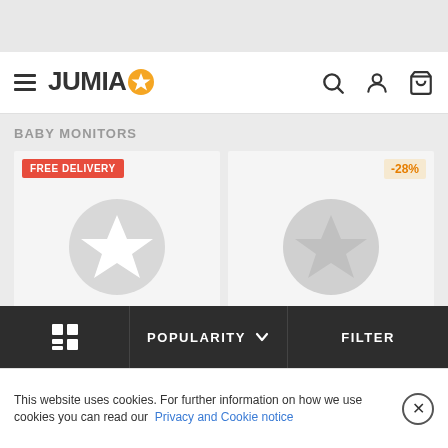[Figure (screenshot): Jumia e-commerce website screenshot showing baby monitors category page with two product placeholders, FREE DELIVERY badge, -28% discount badge, navigation header with hamburger menu, search, user, and cart icons, bottom toolbar with grid, popularity sort, and filter options, and a cookie consent banner.]
JUMIA
BABY MONITORS
FREE DELIVERY
-28%
POPULARITY
FILTER
This website uses cookies. For further information on how we use cookies you can read our Privacy and Cookie notice